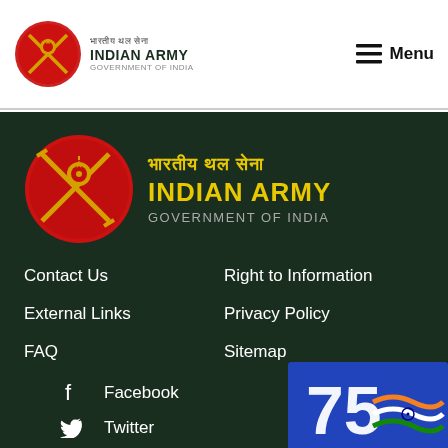[Figure (logo): Indian Army logo with crossed swords and Ashoka emblem in red oval, with Hindi text 'भारतीय थल सेना', 'INDIAN ARMY', 'GOVERNMENT OF INDIA' in header]
≡ Menu
[Figure (logo): Large Indian Army logo in footer: red oval with crossed swords and Ashoka emblem, with yellow Hindi text 'भारतीय थल सेना', yellow 'INDIAN ARMY', grey 'GOVERNMENT OF INDIA']
Contact Us
Right to Information
External Links
Privacy Policy
FAQ
Sitemap
Facebook
Twitter
[Figure (illustration): 75th anniversary badge with '75' numeral and Indian flag tricolor wave on blue background with Ashoka wheel]